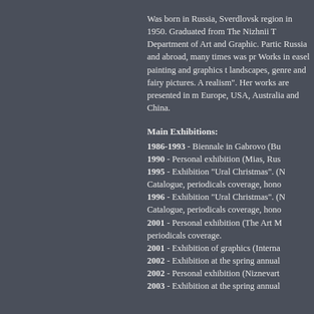Was born in Russia, Sverdlovsk region in 1950. Graduated from The Nizhnii T... Department of Art and Graphic. Partic... Russia and abroad, many times was pr... Works in easel painting and graphics t... landscapes, genre and fairy pictures. A... realism". Her works are presented in m... Europe, USA, Australia and China.
Main Exhibitions:
1986-1993 - Biennale in Gabrovo (Bu...
1990 - Personal exhibition (Mias, Rus...
1995 - Exhibition “Ural Christmas”. (N... Catalogue, periodicals coverage, hono...
1996 - Exhibition “Ural Christmas”. (N... Catalogue, periodicals coverage, hono...
2001 - Personal exhibition (The Art M... periodicals coverage.
2001 - Exhibition of graphics (Interna...
2002 - Exhibition at the spring annual
2002 - Personal exhibition (Niznevart...
2003 - Exhibition at the spring annual